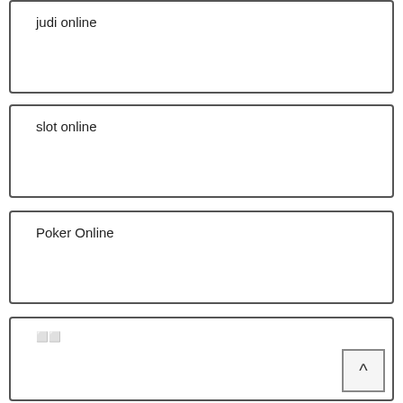judi online
slot online
Poker Online
⬛⬛